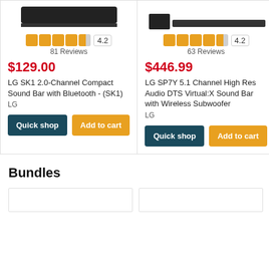[Figure (photo): Top portion of LG SK1 soundbar product image (cropped)]
[Figure (photo): Top portion of LG SP7Y soundbar with wireless subwoofer product image (cropped)]
4.2 81 Reviews
$129.00
LG SK1 2.0-Channel Compact Sound Bar with Bluetooth - (SK1)
LG
Quick shop
Add to cart
4.2 63 Reviews
$446.99
LG SP7Y 5.1 Channel High Res Audio DTS Virtual:X Sound Bar with Wireless Subwoofer
LG
Quick shop
Add to cart
Bundles